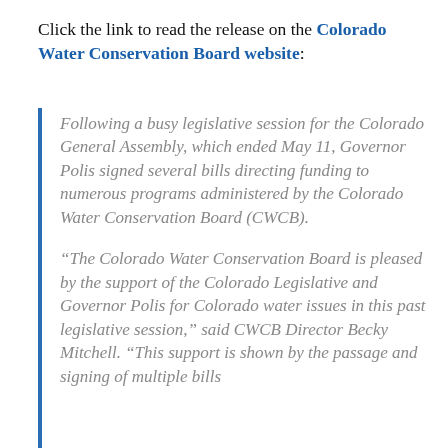Click the link to read the release on the Colorado Water Conservation Board website:
Following a busy legislative session for the Colorado General Assembly, which ended May 11, Governor Polis signed several bills directing funding to numerous programs administered by the Colorado Water Conservation Board (CWCB).
“The Colorado Water Conservation Board is pleased by the support of the Colorado Legislative and Governor Polis for Colorado water issues in this past legislative session,” said CWCB Director Becky Mitchell. “This support is shown by the passage and signing of multiple bills…